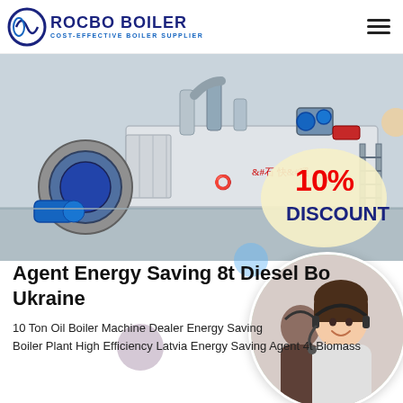ROCBO BOILER — COST-EFFECTIVE BOILER SUPPLIER
[Figure (photo): Industrial boiler equipment in a factory setting with blue motor components, piping, and a 10% DISCOUNT badge overlaid on the image]
Agent Energy Saving 8t Diesel Boiler Ukraine
10 Ton Oil Boiler Machine Dealer Energy Saving Boiler Plant High Efficiency Latvia Energy Saving Agent 4t Biomass